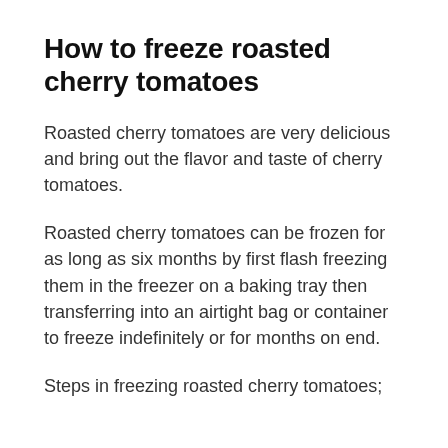How to freeze roasted cherry tomatoes
Roasted cherry tomatoes are very delicious and bring out the flavor and taste of cherry tomatoes.
Roasted cherry tomatoes can be frozen for as long as six months by first flash freezing them in the freezer on a baking tray then transferring into an airtight bag or container to freeze indefinitely or for months on end.
Steps in freezing roasted cherry tomatoes;